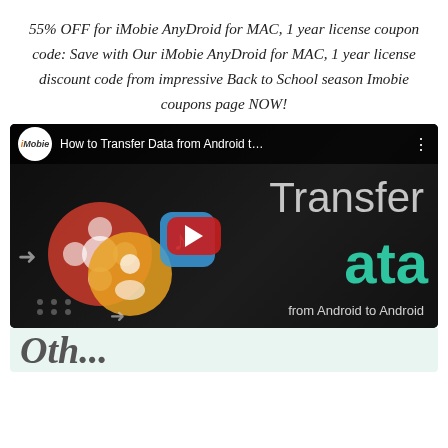55% OFF for iMobie AnyDroid for MAC, 1 year license coupon code: Save with Our iMobie AnyDroid for MAC, 1 year license discount code from impressive Back to School season Imobie coupons page NOW!
[Figure (screenshot): YouTube video thumbnail for 'How to Transfer Data from Android t...' by iMobie, showing smartphone data transfer imagery with large teal 'Transfer Data' text overlay and red YouTube play button]
Other...